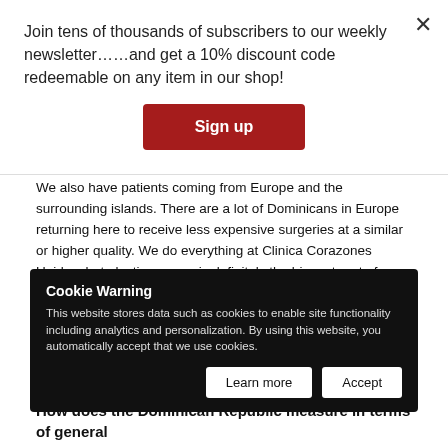Join tens of thousands of subscribers to our weekly newsletter……and get a 10% discount code redeemable on any item in our shop!
Sign up
We also have patients coming from Europe and the surrounding islands. There are a lot of Dominicans in Europe returning here to receive less expensive surgeries at a similar or higher quality. We do everything at Clinica Corazones Unidos, but plastic surgery is definitely the biggest part of medical tourism.
What makes Corazones Unidos different from other private clinics?
We have a personalized medical experience. Each patient has their own...
Cookie Warning
This website stores data such as cookies to enable site functionality including analytics and personalization. By using this website, you automatically accept that we use cookies.
Learn more
Accept
How does the Dominican Republic measure in terms of general